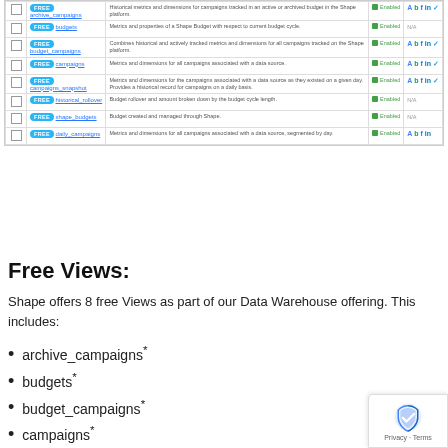|  | Name | Description | Status | Integrations |
| --- | --- | --- | --- | --- |
| ☐ | FREE archive_campaigns | Historical metrics and dimensions for campaigns marked in an active or archived budget in the Shape platform. | Enabled | A b f in tw |
| ☐ | FREE budgets | Metrics and properties of a Shape Budget with respect to current budget cycle. | Enabled | N/A |
| ☐ | FREE budget_campaigns | Combines historical and actively tracked metrics and dimensions for all campaigns tracked on the Shape platform. | Enabled | A b f in tw |
| ☐ | FREE campaigns | Metrics and dimensions for all campaigns associated with a data source. | Enabled | A b f in tw |
| ☐ | FREE campaigns_snapshot | Metrics and dimensions for the campaigns associated with a data source as they existed on a given day. Provides a historical record for campaigns on a daily basis. | Enabled | A b f in tw |
| ☐ | FREE historical_rollover | Budget rollover and amount broken down by the budget cycle length. | Enabled | N/A |
| ☐ | FREE shape_budgets | Budget created and managed through Shape. | Enabled | N/A |
| ☐ | FREE daily_campaigns | Metrics and dimensions for all campaigns associated with a data source, segmented by day. | Enabled | A b f in |
Free Views:
Shape offers 8 free Views as part of our Data Warehouse offering. This includes:
archive_campaigns*
budgets*
budget_campaigns*
campaigns*